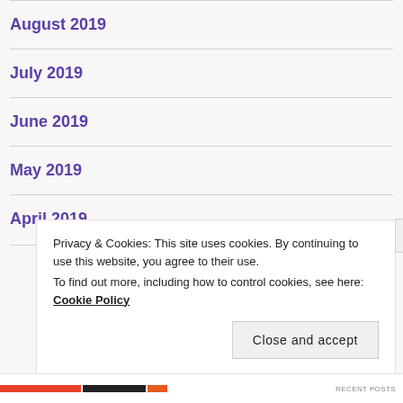August 2019
July 2019
June 2019
May 2019
April 2019
Privacy & Cookies: This site uses cookies. By continuing to use this website, you agree to their use.
To find out more, including how to control cookies, see here: Cookie Policy
Close and accept